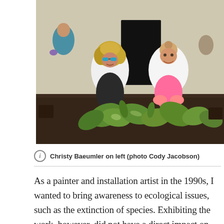[Figure (photo): Two women in white t-shirts crouching down planting hostas and green plants in dark soil outside a building with brick wall and black door. Another person visible in the background. One woman has curly blonde hair and sunglasses, the other has her hair up and wears pink shorts.]
Christy Baeumler on left (photo Cody Jacobson)
As a painter and installation artist in the 1990s, I wanted to bring awareness to ecological issues, such as the extinction of species. Exhibiting the work, however, did not have a direct impact on the issues